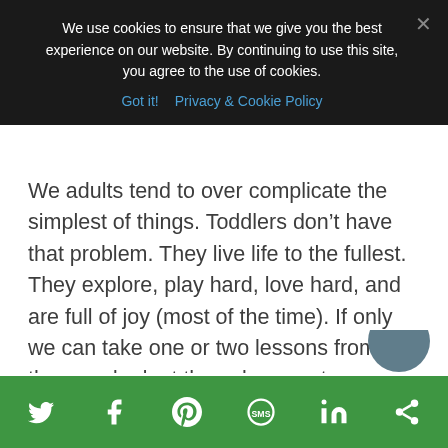We use cookies to ensure that we give you the best experience on our website. By continuing to use this site, you agree to the use of cookies.
Got it!   Privacy & Cookie Policy
We adults tend to over complicate the simplest of things. Toddlers don't have that problem. They live life to the fullest. They explore, play hard, love hard, and are full of joy (most of the time). If only we can take one or two lessons from them and adapt those lessons to our lives. I think we will find that we all can be a bit more carefree than we think.
[Figure (other): Social sharing bar with icons for Twitter, Facebook, Pinterest, SMS, LinkedIn, and another sharing option on a green background]